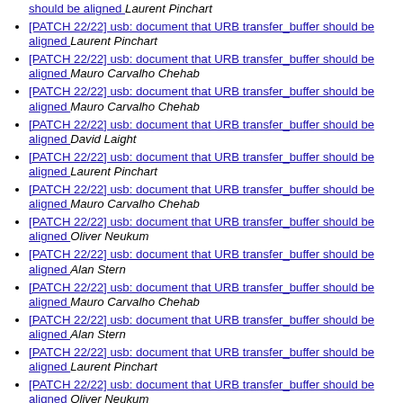[PATCH 22/22] usb: document that URB transfer_buffer should be aligned  Laurent Pinchart
[PATCH 22/22] usb: document that URB transfer_buffer should be aligned  Laurent Pinchart
[PATCH 22/22] usb: document that URB transfer_buffer should be aligned  Mauro Carvalho Chehab
[PATCH 22/22] usb: document that URB transfer_buffer should be aligned  Mauro Carvalho Chehab
[PATCH 22/22] usb: document that URB transfer_buffer should be aligned  David Laight
[PATCH 22/22] usb: document that URB transfer_buffer should be aligned  Laurent Pinchart
[PATCH 22/22] usb: document that URB transfer_buffer should be aligned  Mauro Carvalho Chehab
[PATCH 22/22] usb: document that URB transfer_buffer should be aligned  Oliver Neukum
[PATCH 22/22] usb: document that URB transfer_buffer should be aligned  Alan Stern
[PATCH 22/22] usb: document that URB transfer_buffer should be aligned  Mauro Carvalho Chehab
[PATCH 22/22] usb: document that URB transfer_buffer should be aligned  Alan Stern
[PATCH 22/22] usb: document that URB transfer_buffer should be aligned  Laurent Pinchart
[PATCH 22/22] usb: document that URB transfer_buffer should be aligned  Oliver Neukum
[PATCH 22/22] usb: document that URB transfer_buffer should be aligned